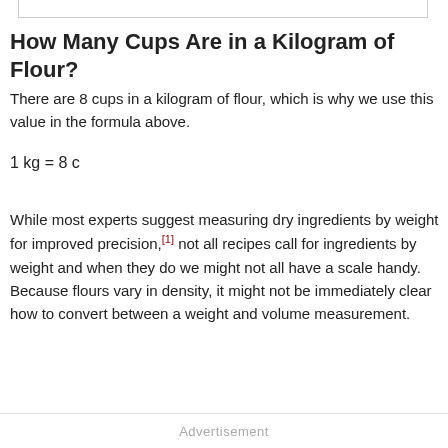How Many Cups Are in a Kilogram of Flour?
There are 8 cups in a kilogram of flour, which is why we use this value in the formula above.
While most experts suggest measuring dry ingredients by weight for improved precision,[1] not all recipes call for ingredients by weight and when they do we might not all have a scale handy. Because flours vary in density, it might not be immediately clear how to convert between a weight and volume measurement.
Advertisement